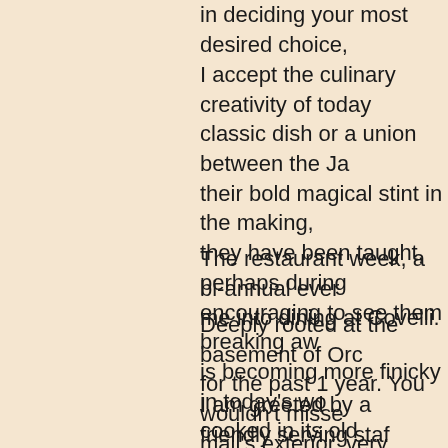in deciding your most desired choice,
I accept the culinary creativity of today's classic dish or a union between the Ja their bold magical stint in the making, they have been taught, perhaps during encouraging to see them breaking awa is becoming more finicky in today's wo cooked in its old traditional way, I welc neoclassicism to woo diners with cutti Wine Bar, is a pit stop to seek reminis out otherwise) with a contemporary tw
The restaurant week, a bi-annual ever me into dining at Covelli.
Deeply rooted at the basement of Orc for the past 1 year. You wouldn't misse mall's exterior, very architectural. A dir level where most restaurants sit. But t stay away and use the elevator in the
I am greeted by a friendly serving staf comes with an alley, separating the m room joining the bar area. My table sit bathed in mood lighting with a dazzlin comfortably on the padded chair feeli